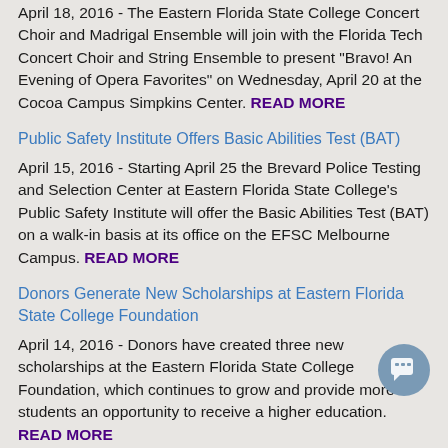April 18, 2016 - The Eastern Florida State College Concert Choir and Madrigal Ensemble will join with the Florida Tech Concert Choir and String Ensemble to present "Bravo! An Evening of Opera Favorites" on Wednesday, April 20 at the Cocoa Campus Simpkins Center. READ MORE
Public Safety Institute Offers Basic Abilities Test (BAT)
April 15, 2016 - Starting April 25 the Brevard Police Testing and Selection Center at Eastern Florida State College's Public Safety Institute will offer the Basic Abilities Test (BAT) on a walk-in basis at its office on the EFSC Melbourne Campus. READ MORE
Donors Generate New Scholarships at Eastern Florida State College Foundation
April 14, 2016 - Donors have created three new scholarships at the Eastern Florida State College Foundation, which continues to grow and provide more students an opportunity to receive a higher education. READ MORE
Unique Comedy Planned at Eastern Florida's Titusville